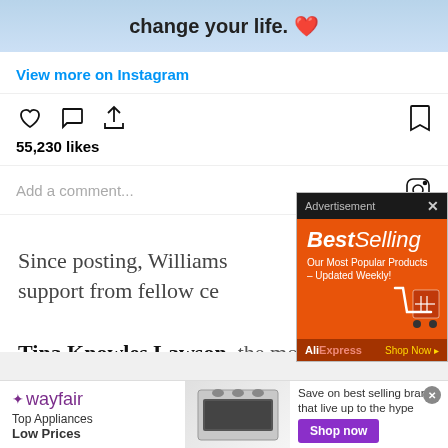[Figure (screenshot): Instagram post top banner showing text 'change your life. ❤️' on a light blue gradient background]
View more on Instagram
[Figure (infographic): Instagram action icons: heart (like), comment bubble, share/upload arrow on left; bookmark on right]
55,230 likes
Add a comment...
Since posting, Williams support from fellow ce
Tina Knowles Lawson, the mother of
[Figure (advertisement): AliExpress BestSelling advertisement on orange background with shopping cart graphic. Text: 'BestSelling', 'Our Most Popular Products – Updated Weekly!', 'AliExpress', 'Shop Now ▸']
[Figure (advertisement): Wayfair advertisement banner. Logo: wayfair with purple star. Text: 'Top Appliances Low Prices', image of kitchen range appliance, 'Save on best selling brands that live up to the hype', purple 'Shop now' button]